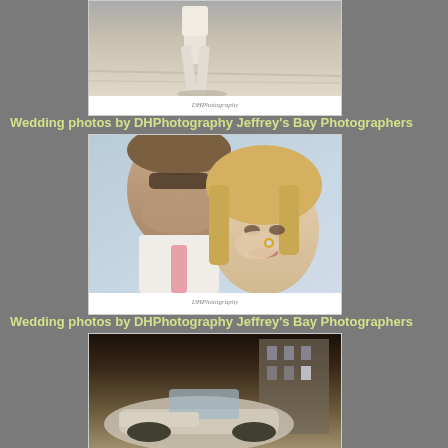[Figure (photo): Black and white photo of a man in light colored pants and shirt on a beach, cropped to show torso and legs, with DHPhotography watermark]
Wedding photos by DHPhotography Jeffrey's Bay Photographers
[Figure (photo): Color photo of a couple, man with sunglasses leaning his head against a blonde woman who looks at camera while holding her face, with pink tie visible and wedding ring, DHPhotography watermark]
Wedding photos by DHPhotography Jeffrey's Bay Photographers
[Figure (photo): Sepia/dark toned photo of a convertible car with a building in the background, partially shown]